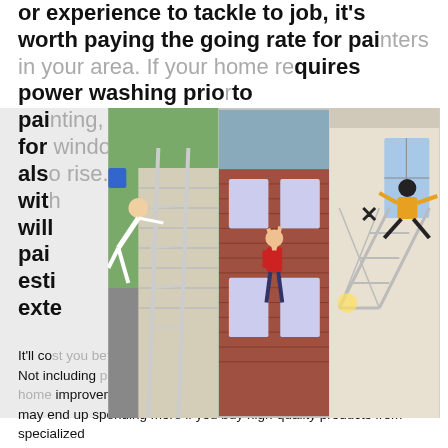or experience to tackle to job, it's worth paying the going rate for painters in your area. If your home requires power washing prior to painting, and if it requires caulking for windows and doors, the cost will also rise. Whether paint is applied with ... on will ... pai... esti... exte...
[Figure (photo): Three side-by-side photos: left shows a person falling off a ladder against a house with vinyl siding; center shows a person reaching up high on a brick house exterior; right shows a person falling from a scaffold indoors.]
It'll cost you between $500 and $1,000 to paint the exterior yourself. Not including paint, it'll cost you no more than $200 to $300 at a home improvement store like Home Depot, Lowes or Menards. You may end up spending more if you buy high-quality products from specialized